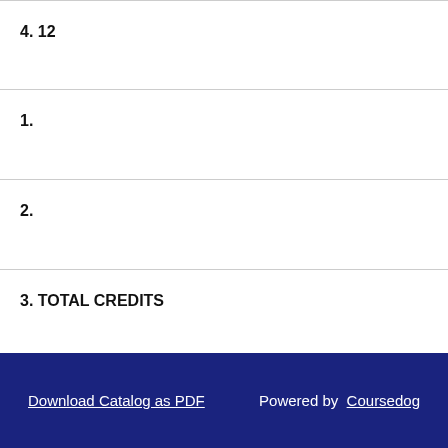4. 12
1.
2.
3. TOTAL CREDITS
4. 122
Download Catalog as PDF   Powered by  Coursedog